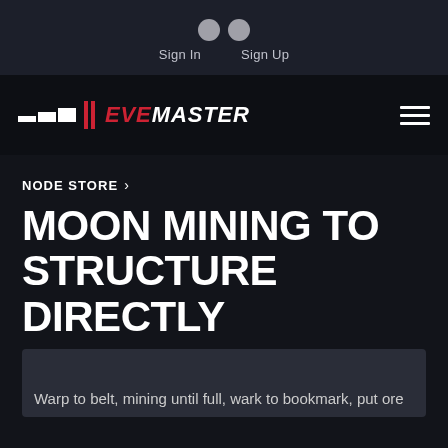Sign In   Sign Up
[Figure (logo): EveMaster logo with red and white bar icon and stylized text]
NODE STORE >
MOON MINING TO STRUCTURE DIRECTLY
Warp to belt, mining until full, wark to bookmark, put ore